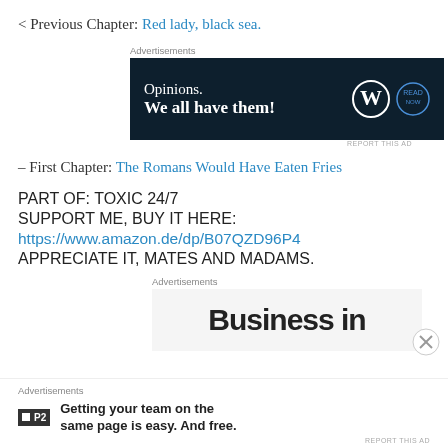< Previous Chapter: Red lady, black sea.
[Figure (other): Advertisement banner: dark navy background with text 'Opinions. We all have them!' and WordPress/other logos on the right]
– First Chapter: The Romans Would Have Eaten Fries
PART OF: TOXIC 24/7
SUPPORT ME, BUY IT HERE:
https://www.amazon.de/dp/B07QZD96P4
APPRECIATE IT, MATES AND MADAMS.
[Figure (other): Advertisement banner with light background showing partial text 'Business in' in large bold font]
[Figure (other): Advertisement banner: P2 logo with text 'Getting your team on the same page is easy. And free.']